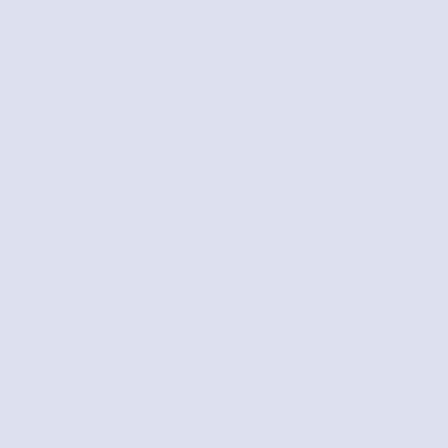Uploaded Utility - Scorch's RPG ZZT.
ZZT Smileys; they're new and they'r
Posted by Kracken at 2:24AM, Febru
At some point in time, I've no doubt that any forums have felt that the generic forum smile and dull... unable to convey the sheer joy of c the frustration and agony of losing said gam crash.

But no longer, my friends; for the new monoch is available for your use.

Smilies; No Longer Just A Silly Newblood's well be the scourge of the nations.
Update: Games 2, Utilities 1/Messa
Posted by Funk at 7:58PM, Februa
Well another day, another upload. This time w ZZT(!) demo Evil vs. Good, and the splend Brainless And You Like Buns by Bark P. Gr Finally, there's a new version of the Mystical T for you to take a look at.

Also, those on the boards may find that the s broken. That's because Kracken is in the proc